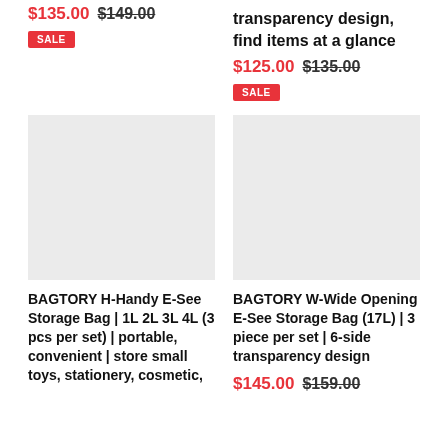$135.00 $149.00 SALE
transparency design, find items at a glance $125.00 $135.00 SALE
[Figure (photo): Product image placeholder - light gray rectangle for BAGTORY H-Handy E-See Storage Bag]
[Figure (photo): Product image placeholder - light gray rectangle for BAGTORY W-Wide Opening E-See Storage Bag]
BAGTORY H-Handy E-See Storage Bag | 1L 2L 3L 4L (3 pcs per set) | portable, convenient | store small toys, stationery, cosmetic,
BAGTORY W-Wide Opening E-See Storage Bag (17L) | 3 piece per set | 6-side transparency design $145.00 $159.00